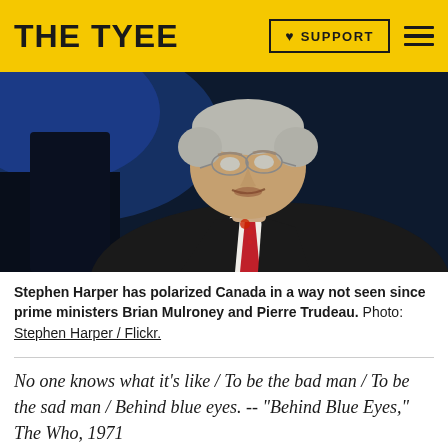THE TYEE | SUPPORT
[Figure (photo): Close-up photo of Stephen Harper speaking at a podium, wearing a dark suit and red tie, blue background lighting]
Stephen Harper has polarized Canada in a way not seen since prime ministers Brian Mulroney and Pierre Trudeau. Photo: Stephen Harper / Flickr.
No one knows what it's like / To be the bad man / To be the sad man / Behind blue eyes. -- "Behind Blue Eyes," The Who, 1971